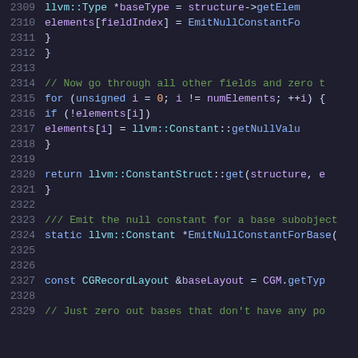Source code snippet lines 2309-2329, C++ code with syntax highlighting showing LLVM struct constant emission logic